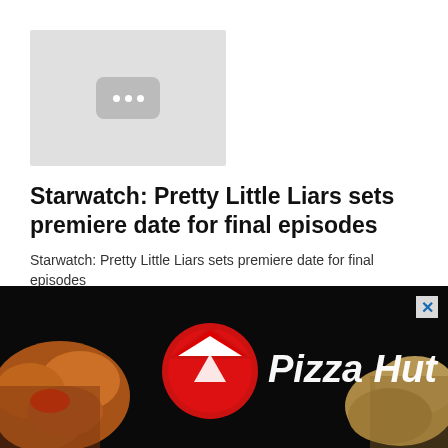[Figure (screenshot): YouTube-style video thumbnail placeholder with gray background and three dots icon]
Starwatch: Pretty Little Liars sets premiere date for final episodes
Starwatch: Pretty Little Liars sets premiere date for final episodes
Nov 23, 2016 8:04 AM Read more >
[Figure (infographic): Pagination bar with buttons: <<, <, 171, 172, 173 (active/blue), 174, 175, 176, and a close X button]
[Figure (photo): Pizza Hut advertisement banner with food imagery and Pizza Hut logo on dark background]